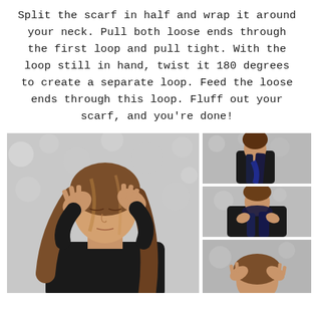Split the scarf in half and wrap it around your neck. Pull both loose ends through the first loop and pull tight. With the loop still in hand, twist it 180 degrees to create a separate loop. Feed the loose ends through this loop. Fluff out your scarf, and you're done!
[Figure (photo): Large photo of a woman with long wavy brown hair, wearing a black top, holding her hands up to her temples/head with eyes closed, against a grey bokeh background.]
[Figure (photo): Small photo of a woman in black top holding a long dark navy/black scarf draped over her, against grey background.]
[Figure (photo): Small photo of a woman in black top with a dark scarf wrapped around her neck, adjusting it with both hands.]
[Figure (photo): Small partial photo at the bottom right showing a woman with hands raised to her head, against grey background.]